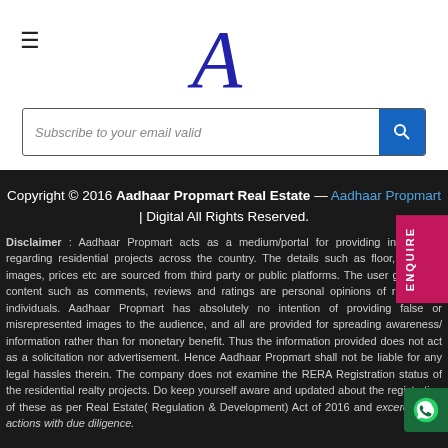[Figure (logo): Stylized italic letter A logo in dark blue, center of white header bar]
Subscribe to your email valid
Copyright © 2016 Aadhaar Propmart Real Estate — Aadhaar Propmart | Digital All Rights Reserved.
Disclaimer : Aadhaar Propmart acts as a medium/portal for providing information regarding residential projects across the country. The details such as floor, location, images, prices etc are sourced from third party or public platforms and user generated content such as comments, reviews and ratings are personal opinions of respective individuals. Aadhaar Propmart has absolutely no intention of providing false or misrepresented images to the audience, and all are provided for spreading information rather than for monetary benefit. Thus the information provided does not act as a solicitation nor advertisement. Hence Aadhaar Propmart shall not be liable for any legal hassles therein. The company does not examine the RERA Registration status of the residential realty projects. Do keep yourself aware and updated about the registration of these as per Real Estate( Regulation & Development) Act of 2016 and excercise the actions with due diligence.